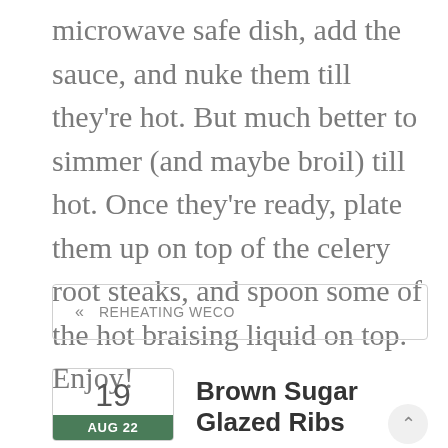microwave safe dish, add the sauce, and nuke them till they're hot. But much better to simmer (and maybe broil) till hot. Once they're ready, plate them up on top of the celery root steaks, and spoon some of the hot braising liquid on top. Enjoy!
« REHEATING WECO
Brown Sugar Glazed Ribs